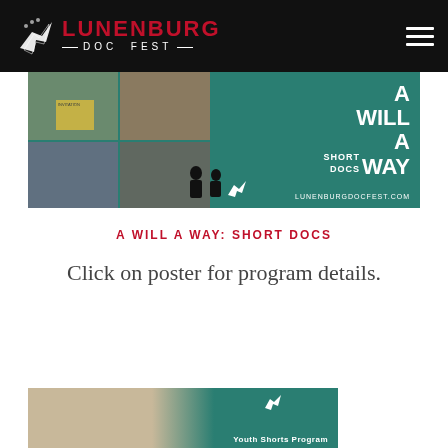[Figure (logo): Lunenburg Doc Fest logo with bird silhouette on black header bar]
[Figure (photo): A Will A Way: Short Docs event poster with teal background, collage of documentary photos, and text overlay]
A WILL A WAY: SHORT DOCS
Click on poster for program details.
[Figure (photo): Youth Shorts Program event image partially visible at bottom]